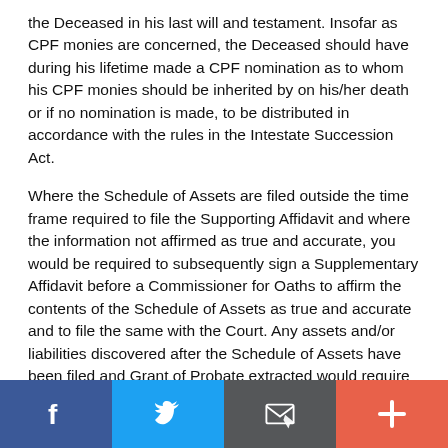the Deceased in his last will and testament. Insofar as CPF monies are concerned, the Deceased should have during his lifetime made a CPF nomination as to whom his CPF monies should be inherited by on his/her death or if no nomination is made, to be distributed in accordance with the rules in the Intestate Succession Act.
Where the Schedule of Assets are filed outside the time frame required to file the Supporting Affidavit and where the information not affirmed as true and accurate, you would be required to subsequently sign a Supplementary Affidavit before a Commissioner for Oaths to affirm the contents of the Schedule of Assets as true and accurate and to file the same with the Court. Any assets and/or liabilities discovered after the Schedule of Assets have been filed and Grant of Probate extracted would require a
[Figure (other): Social sharing bar with four buttons: Facebook (blue), Twitter (light blue), Email/share (dark grey), and Add/plus (coral/orange-red)]